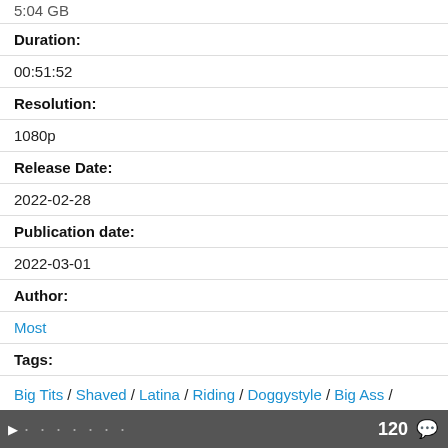5:04 GB
Duration:
00:51:52
Resolution:
1080p
Release Date:
2022-02-28
Publication date:
2022-03-01
Author:
Most
Tags:
Big Tits / Shaved / Latina / Riding / Doggystyle / Big Ass / Brunette / Amateur / Vaginal / Big Booty / Fingering / Blowjob / Busty / Cow Girl / Hardcore / Missionar
120